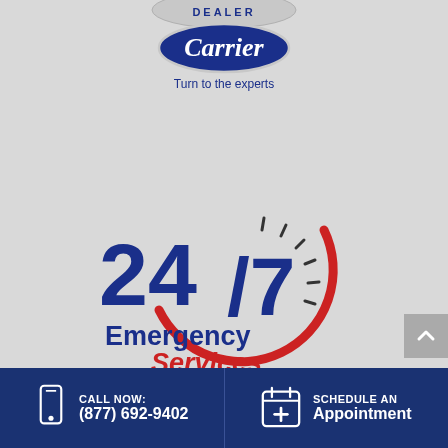[Figure (logo): Carrier 'Factory Authorized Dealer' badge logo with blue oval and tagline 'Turn to the experts']
[Figure (logo): 24/7 Emergency Services logo with clock graphic, dark navy '24/7' text and red 'Emergency Services' text]
[Figure (infographic): Footer bar with phone icon and 'CALL NOW: (877) 692-9402' on the left, calendar/plus icon and 'SCHEDULE AN Appointment' on the right, both on dark navy background]